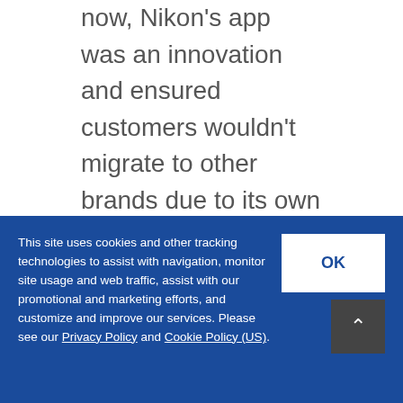now, Nikon's app was an innovation and ensured customers wouldn't migrate to other brands due to its own apps. Plus, Nikon's Wireless Mobile Utility offers cool features that appeal to today's share-centric markets and helps attract new customers with creative new features.
Expand Your Service Market with a Mobile
This site uses cookies and other tracking technologies to assist with navigation, monitor site usage and web traffic, assist with our promotional and marketing efforts, and customize and improve our services. Please see our Privacy Policy and Cookie Policy (US).